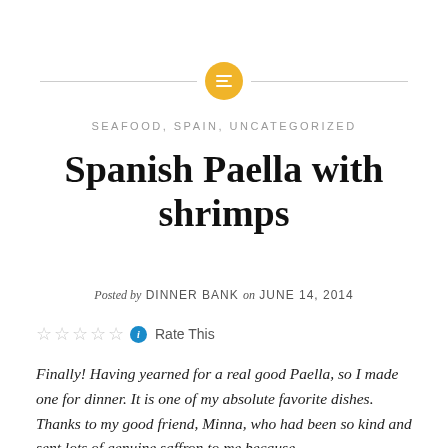[Figure (other): Decorative divider with golden circle icon containing horizontal lines, flanked by two gray horizontal lines]
SEAFOOD, SPAIN, UNCATEGORIZED
Spanish Paella with shrimps
Posted by DINNER BANK on JUNE 14, 2014
Rate This
Finally! Having yearned for a real good Paella, so I made one for dinner. It is one of my absolute favorite dishes.
Thanks to my good friend, Minna, who had been so kind and sent lots of genuine saffron to me because